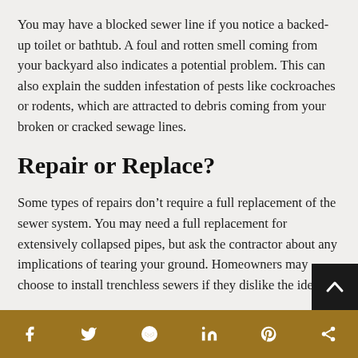You may have a blocked sewer line if you notice a backed-up toilet or bathtub. A foul and rotten smell coming from your backyard also indicates a potential problem. This can also explain the sudden infestation of pests like cockroaches or rodents, which are attracted to debris coming from your broken or cracked sewage lines.
Repair or Replace?
Some types of repairs don’t require a full replacement of the sewer system. You may need a full replacement for extensively collapsed pipes, but ask the contractor about any implications of tearing your ground. Homeowners may choose to install trenchless sewers if they dislike the idea...